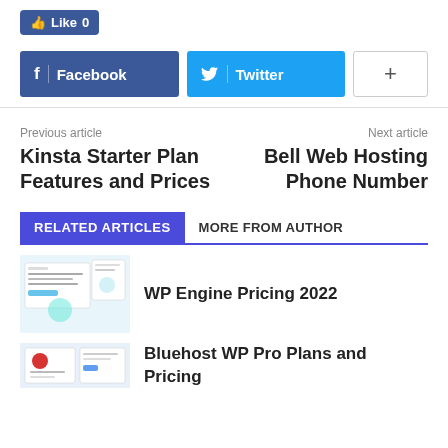[Figure (other): Facebook Like button showing 0 likes]
[Figure (other): Social share buttons: Facebook, Twitter, and a plus button]
Previous article
Kinsta Starter Plan Features and Prices
Next article
Bell Web Hosting Phone Number
RELATED ARTICLES
MORE FROM AUTHOR
[Figure (screenshot): WP Engine dashboard screenshot thumbnail]
WP Engine Pricing 2022
[Figure (screenshot): Bluehost website screenshot thumbnail]
Bluehost WP Pro Plans and Pricing